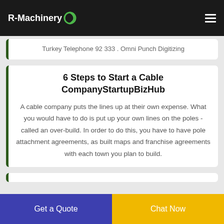R-Machinery
Turkey Telephone 92 333 . Omni Punch Digitizing
6 Steps to Start a Cable CompanyStartupBizHub
A cable company puts the lines up at their own expense. What you would have to do is put up your own lines on the poles - called an over-build. In order to do this, you have to have pole attachment agreements, as built maps and franchise agreements with each town you plan to build.
Get a Quote
Chat Now